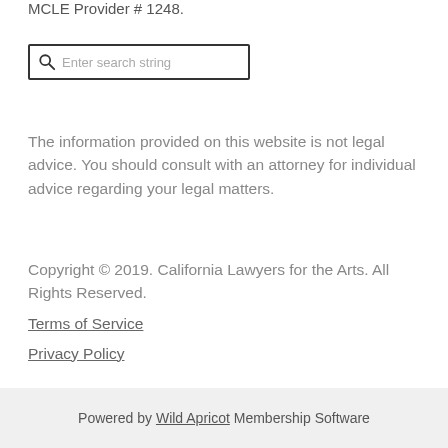MCLE Provider # 1248.
[Figure (other): Search input box with magnifying glass icon and placeholder text 'Enter search string']
The information provided on this website is not legal advice. You should consult with an attorney for individual advice regarding your legal matters.
Copyright © 2019. California Lawyers for the Arts. All Rights Reserved.
Terms of Service
Privacy Policy
Powered by Wild Apricot Membership Software